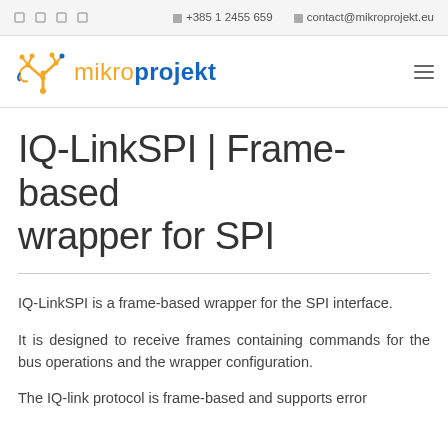☎ +385 1 2455 659  ✉ contact@mikroprojekt.eu
[Figure (logo): Mikroprojekt logo with circuit-board tree icon in orange and company name in orange/blue text]
IQ-LinkSPI | Frame-based wrapper for SPI
IQ-LinkSPI is a frame-based wrapper for the SPI interface.
It is designed to receive frames containing commands for the bus operations and the wrapper configuration.
The IQ-link protocol is frame-based and supports error